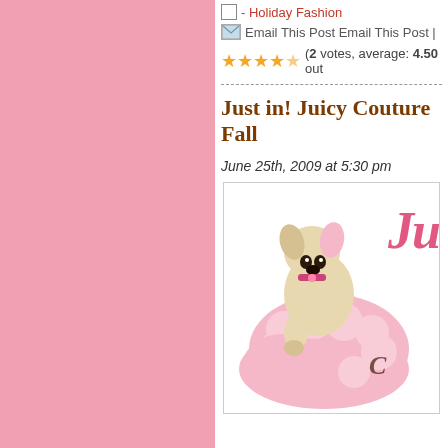- Holiday Fashion
Email This Post Email This Post |
(2 votes, average: 4.50 out
Just in! Juicy Couture Fall
June 25th, 2009 at 5:30 pm
[Figure (photo): A stuffed dog toy sitting in a pink fluffy Juicy Couture slipper, with the Juicy Couture cursive logo visible on the right side of the image.]